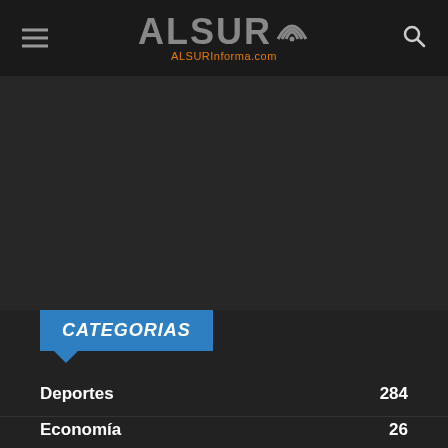ALSUR ALSURInforma.com
CATEGORIAS
Deportes 284
Economía 26
Espectáculo 61